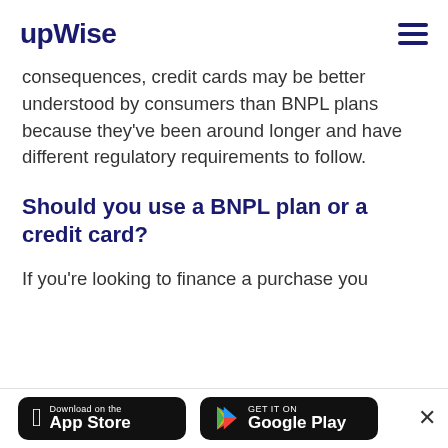upwise
consequences, credit cards may be better understood by consumers than BNPL plans because they've been around longer and have different regulatory requirements to follow.
Should you use a BNPL plan or a credit card?
If you're looking to finance a purchase you
[Figure (other): Download on the App Store button]
[Figure (other): GET IT ON Google Play button]